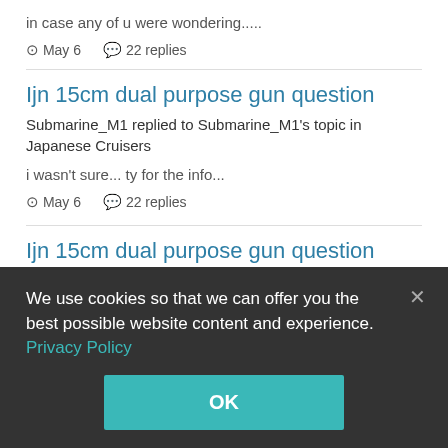in case any of u were wondering.....
⊙ May 6   💬 22 replies
Ijn 15cm dual purpose gun question
Submarine_M1 replied to Submarine_M1's topic in Japanese Cruisers
i wasn't sure... ty for the info...
⊙ May 6   💬 22 replies
Ijn 15cm dual purpose gun question
Submarine_M1 replied to Submarine_M1's topic in Japanese
We use cookies so that we can offer you the best possible website content and experience. Privacy Policy
OK